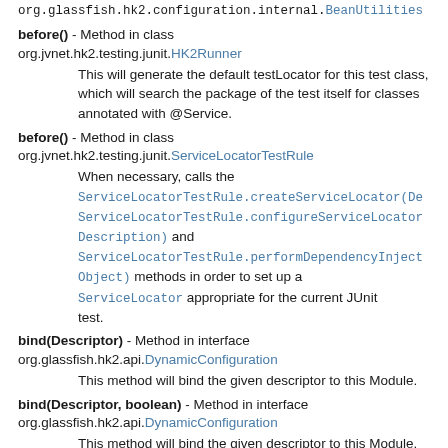org.glassfish.hk2.configuration.internal.BeanUtilities
before() - Method in class org.jvnet.hk2.testing.junit.HK2Runner
  This will generate the default testLocator for this test class, which will search the package of the test itself for classes annotated with @Service.
before() - Method in class org.jvnet.hk2.testing.junit.ServiceLocatorTestRule
  When necessary, calls the ServiceLocatorTestRule.createServiceLocator(De ServiceLocatorTestRule.configureServiceLocator Description) and ServiceLocatorTestRule.performDependencyInject Object) methods in order to set up a ServiceLocator appropriate for the current JUnit test.
bind(Descriptor) - Method in interface org.glassfish.hk2.api.DynamicConfiguration
  This method will bind the given descriptor to this Module.
bind(Descriptor, boolean) - Method in interface org.glassfish.hk2.api.DynamicConfiguration
  This method will bind the given descriptor to this Module.
bind(FactoryDescriptors) - Method in interface